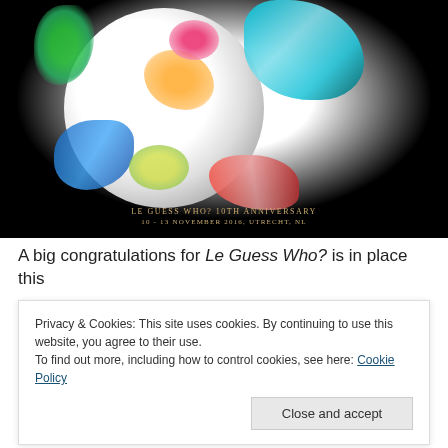[Figure (illustration): Abstract colorful digital artwork showing a globe/sphere with geometric triangular mesh overlaid with vivid splashes of color (green, teal, orange, pink, blue, red, lime) against a black background. Text at bottom reads: LE GUESS WHO? 10th ANNIVERSARY / 10 - 13 NOVEMBER 2016, UTRECHT, NL]
A big congratulations for Le Guess Who? is in place this
Privacy & Cookies: This site uses cookies. By continuing to use this website, you agree to their use.
To find out more, including how to control cookies, see here: Cookie Policy
Close and accept
like us. We chose Saturday the 12th of November to be